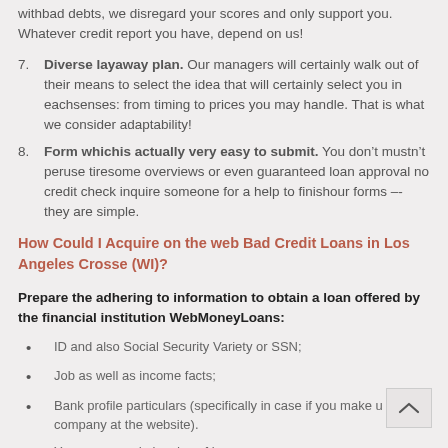withbad debts, we disregard your scores and only support you. Whatever credit report you have, depend on us!
7. Diverse layaway plan. Our managers will certainly walk out of their means to select the idea that will certainly select you in eachsenses: from timing to prices you may handle. That is what we consider adaptability!
8. Form whichis actually very easy to submit. You don't mustn't peruse tiresome overviews or even guaranteed loan approval no credit check inquire someone for a help to finishour forms –- they are simple.
How Could I Acquire on the web Bad Credit Loans in Los Angeles Crosse (WI)?
Prepare the adhering to information to obtain a loan offered by the financial institution WebMoneyLoans:
ID and also Social Security Variety or SSN;
Job as well as income facts;
Bank profile particulars (specifically in case if you make use of a company at the website).
Your name and also day of born: